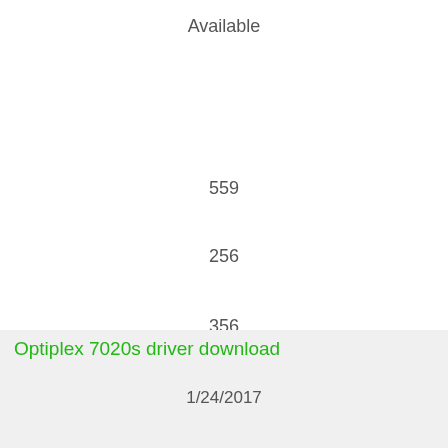Available
559
5
256
356
Optiplex 7020s driver download
1/24/2017